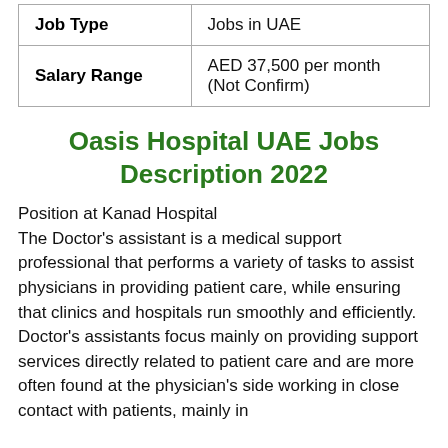| Job Type | Jobs in UAE |
| --- | --- |
| Salary Range | AED 37,500 per month (Not Confirm) |
Oasis Hospital UAE Jobs Description 2022
Position at Kanad Hospital
The Doctor's assistant is a medical support professional that performs a variety of tasks to assist physicians in providing patient care, while ensuring that clinics and hospitals run smoothly and efficiently. Doctor's assistants focus mainly on providing support services directly related to patient care and are more often found at the physician's side working in close contact with patients, mainly in